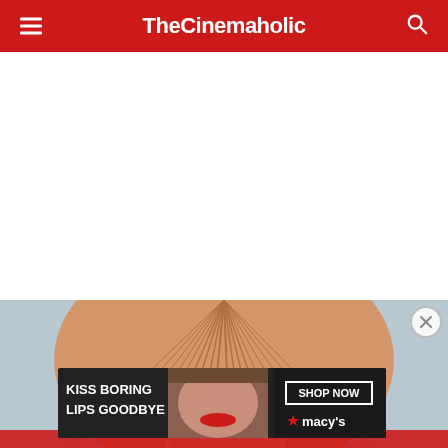TheCinemaholic
[Figure (illustration): Anime character with orange/blonde hair covering face, blue background — partially visible]
[Figure (photo): Advertisement banner: KISS BORING LIPS GOODBYE — SHOP NOW — macy's, featuring a woman with red lips]